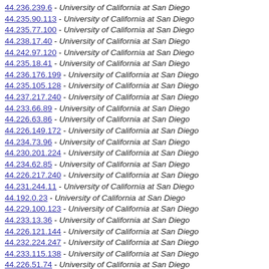44.236.239.6 - University of California at San Diego
44.235.90.113 - University of California at San Diego
44.235.77.100 - University of California at San Diego
44.238.17.40 - University of California at San Diego
44.242.97.120 - University of California at San Diego
44.235.18.41 - University of California at San Diego
44.236.176.199 - University of California at San Diego
44.235.105.128 - University of California at San Diego
44.237.217.240 - University of California at San Diego
44.233.66.89 - University of California at San Diego
44.226.63.86 - University of California at San Diego
44.226.149.172 - University of California at San Diego
44.234.73.96 - University of California at San Diego
44.230.201.224 - University of California at San Diego
44.234.62.85 - University of California at San Diego
44.226.217.240 - University of California at San Diego
44.231.244.11 - University of California at San Diego
44.192.0.23 - University of California at San Diego
44.229.100.123 - University of California at San Diego
44.233.13.36 - University of California at San Diego
44.226.121.144 - University of California at San Diego
44.232.224.247 - University of California at San Diego
44.233.115.138 - University of California at San Diego
44.226.51.74 - University of California at San Diego
44.234.186.209 - University of California at San Diego
44.100.127.150 - University of California at San Diego
44.231.152.175 - University of California at San Diego
44.229.49.72 - University of California at San Diego
44.231.43.66 - University of California at San Diego
44.228.9.32 - University of California at San Diego